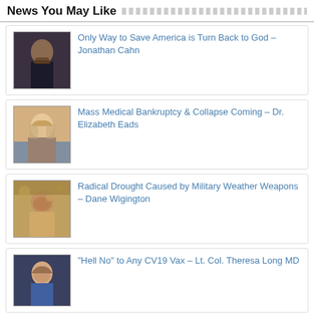News You May Like
Only Way to Save America is Turn Back to God – Jonathan Cahn
Mass Medical Bankruptcy & Collapse Coming – Dr. Elizabeth Eads
Radical Drought Caused by Military Weather Weapons – Dane Wigington
"Hell No" to Any CV19 Vax – Lt. Col. Theresa Long MD